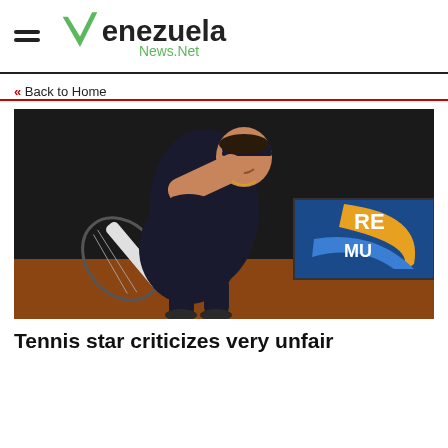Venezuela News.Net
« Back to Home
[Figure (photo): Female tennis player in dark outfit and visor serving or following through on a stroke, with a sponsor banner in the background showing partial text 'RE MU']
Tennis star criticizes very unfair